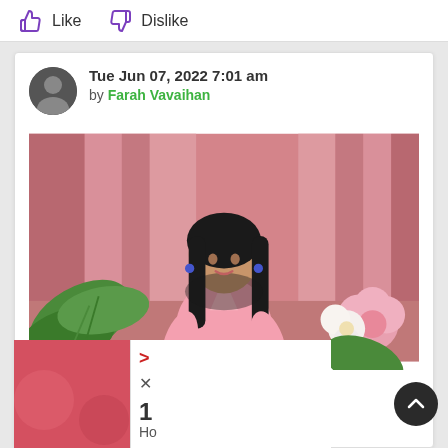Like   Dislike
Tue Jun 07, 2022 7:01 am by Farah Vavaihan
[Figure (photo): A young woman with long dark hair wearing a pink dress, seated in front of pink curtains with tropical leaves and flowers on either side.]